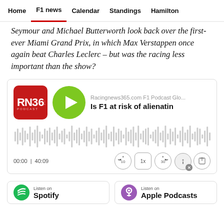Home | F1 news | Calendar | Standings | Hamilton
Seymour and Michael Butterworth look back over the first-ever Miami Grand Prix, in which Max Verstappen once again beat Charles Leclerc – but was the racing less important than the show?
[Figure (screenshot): Podcast player widget for RacingNews365.com F1 Podcast. Shows RN365 red logo, green play button, title 'Is F1 at risk of alienatin...', audio waveform, time 00:00 | 40:09, playback controls (rewind 10, speed 1x, forward 30), info and share buttons.]
[Figure (screenshot): Listen on Spotify and Listen on Apple Podcasts badges]